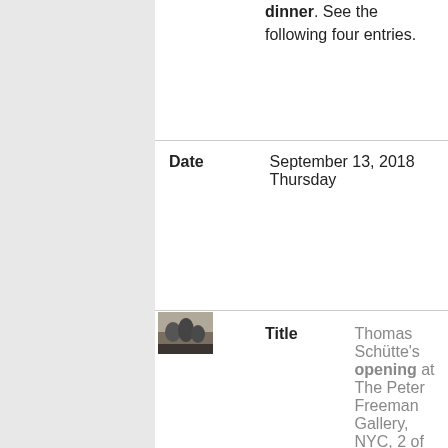dinner. See the following four entries.
| Label | Value |
| --- | --- |
| Date | September 13, 2018 Thursday |
| Title | Thomas Schütte's opening at The Peter Freeman Gallery, NYC, 2 of 5 |
| Caption | I taught my first two classes at Vassar and then headed home, skipping computer animation, which Tom |